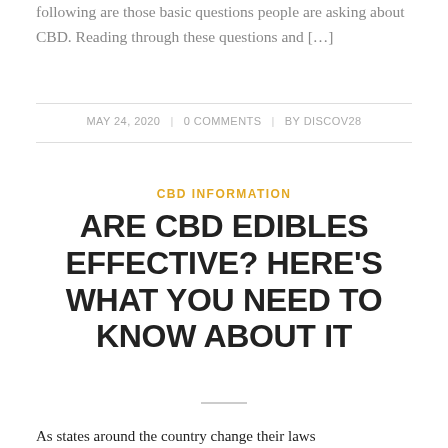following are those basic questions people are asking about CBD. Reading through these questions and […]
MAY 24, 2020 | 0 COMMENTS | BY DISCOV28
CBD INFORMATION
ARE CBD EDIBLES EFFECTIVE? HERE'S WHAT YOU NEED TO KNOW ABOUT IT
As states around the country change their laws